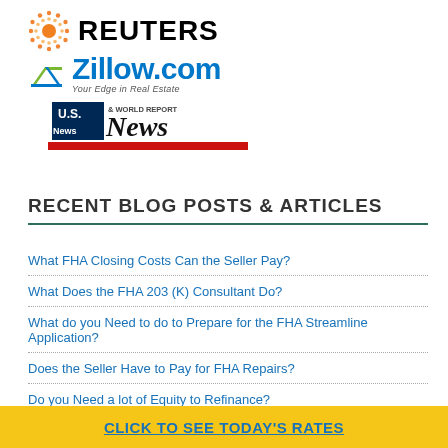[Figure (logo): Reuters logo with orange dot matrix circle and bold black REUTERS text]
[Figure (logo): Zillow.com logo with blue Z icon, blue Zillow.com text, and italic tagline 'Your Edge in Real Estate']
[Figure (logo): U.S. News & World Report logo in red and blue box with white text]
RECENT BLOG POSTS & ARTICLES
What FHA Closing Costs Can the Seller Pay?
What Does the FHA 203 (K) Consultant Do?
What do you Need to do to Prepare for the FHA Streamline Application?
Does the Seller Have to Pay for FHA Repairs?
Do you Need a lot of Equity to Refinance?
CLICK TO SEE TODAY'S RATES